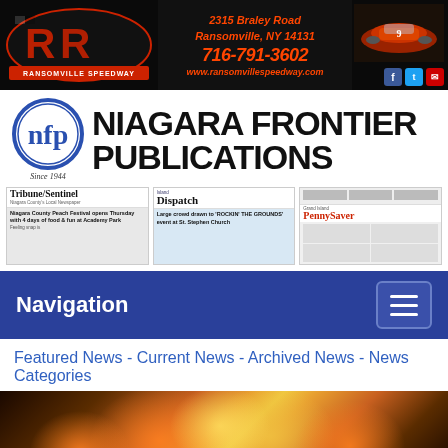[Figure (screenshot): Ransomville Speedway banner ad with logo, address 2315 Braley Road Ransomville, NY 14131, phone 716-791-3602, website www.ransomvillespeedway.com, race car photo, and social media icons]
[Figure (logo): Niagara Frontier Publications logo with NFP circular emblem and text 'NIAGARA FRONTIER PUBLICATIONS' and 'Since 1944']
[Figure (screenshot): Three publication thumbnails: Tribune/Sentinel, Island Dispatch, Grand Island PennySaver newspaper front pages]
Navigation
Featured News - Current News - Archived News - News Categories
[Figure (photo): Blurry bokeh photo with warm orange and yellow light circles on dark background]